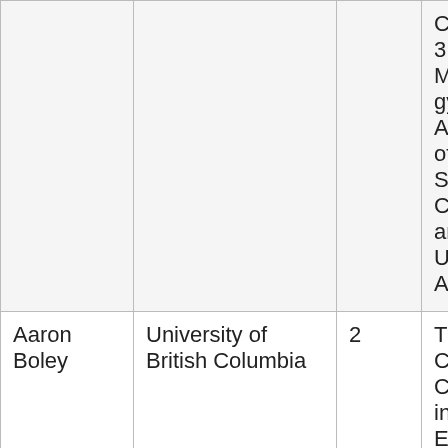| Name | Institution | Cycle | Title |
| --- | --- | --- | --- |
|  |  |  | Cycle 2, 3, 4: Morphology and Astrometry of Near-Sun Comets and Unusual Asteroids |
| Aaron Boley | University of British Columbia | 2 | TransitDots Constraining Changes in Exoplanet Transits |